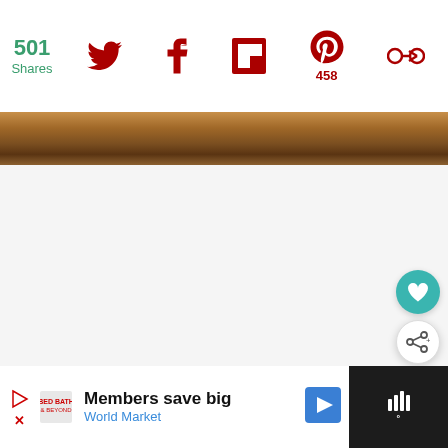501 Shares | Twitter | Facebook | Flipboard | Pinterest 458 | Other
[Figure (photo): Bottom edge of a baking tray/pan on a wooden surface, cropped strip]
[Figure (infographic): White content area with floating heart button (teal) and share button (white), and a What's Next panel showing Soft Coconut Pudding...]
WHAT'S NEXT → Soft Coconut Pudding...
[Figure (screenshot): Advertisement bar at bottom: Members save big - World Market, with play/close controls and World Market logo icon]